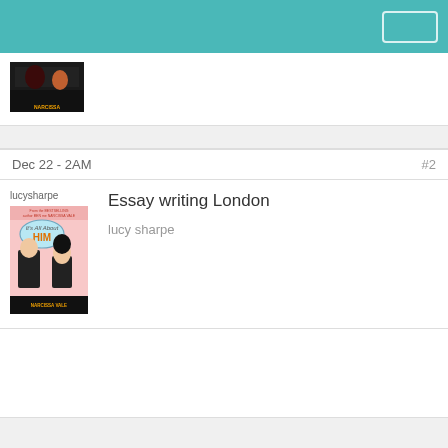[Figure (illustration): Book cover thumbnail showing a dark-toned romantic/thriller cover with text 'NARCISSA' at the bottom]
Dec 22 - 2AM #2
lucysharpe
[Figure (illustration): Book cover 'It's All About HIM' with cartoon couple, pink background, speech bubble, and NARCISSA text at bottom]
Essay writing London
lucy sharpe